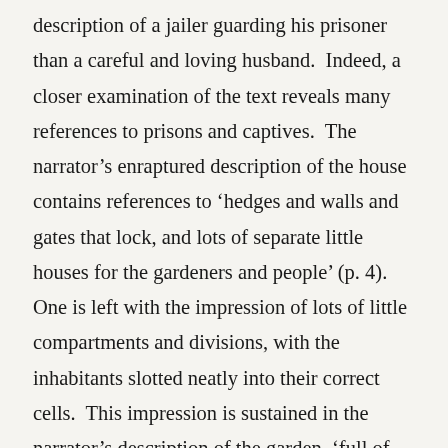description of a jailer guarding his prisoner than a careful and loving husband.  Indeed, a closer examination of the text reveals many references to prisons and captives.  The narrator's enraptured description of the house contains references to 'hedges and walls and gates that lock, and lots of separate little houses for the gardeners and people' (p. 4).  One is left with the impression of lots of little compartments and divisions, with the inhabitants slotted neatly into their correct cells.  This impression is sustained in the narrator's description of the garden, 'full of box-bordered paths, and lined with long grape-covered arbors' (p. 4).  Everything is sectioned off or covered over.  The nursery itself is chosen 'the windows are barred for little